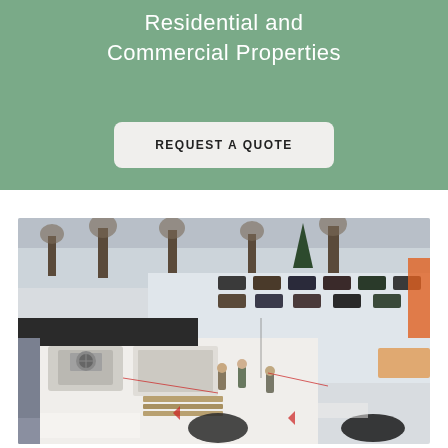Residential and Commercial Properties
REQUEST A QUOTE
[Figure (photo): Aerial view of workers on a flat commercial rooftop in winter with snow covering the roof and parking lot. HVAC units visible on the roof, workers installing roofing materials, cars parked in lot below, trees and a street visible in the background.]